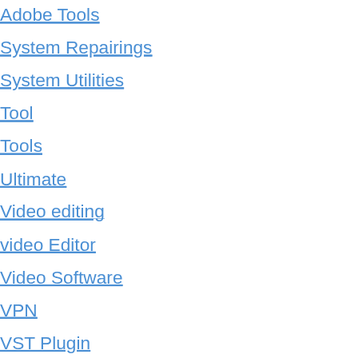Adobe Tools
System Repairings
System Utilities
Tool
Tools
Ultimate
Video editing
video Editor
Video Software
VPN
VST Plugin
window
Windows